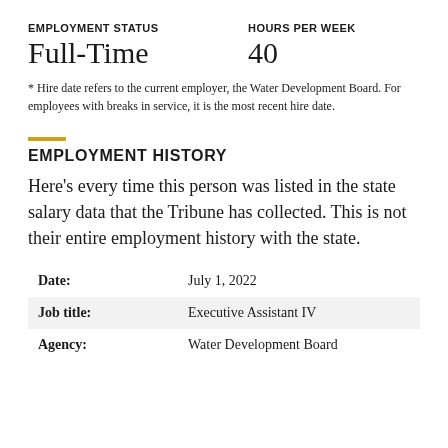EMPLOYMENT STATUS
HOURS PER WEEK
Full-Time
40
* Hire date refers to the current employer, the Water Development Board. For employees with breaks in service, it is the most recent hire date.
EMPLOYMENT HISTORY
Here’s every time this person was listed in the state salary data that the Tribune has collected. This is not their entire employment history with the state.
| Field | Value |
| --- | --- |
| Date: | July 1, 2022 |
| Job title: | Executive Assistant IV |
| Agency: | Water Development Board |